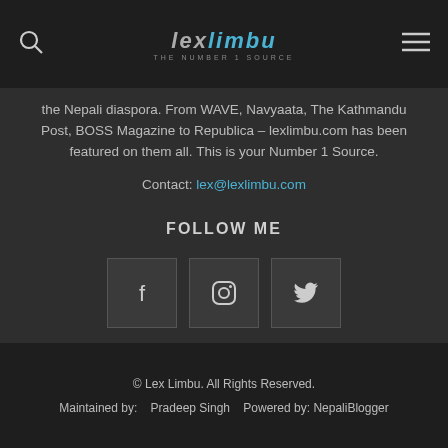lexlimbu THE NUMBER 1 SOURCE
the Nepali diaspora. From WAVE, Navyaata, The Kathmandu Post, BOSS Magazine to Republica – lexlimbu.com has been featured on them all. This is your Number 1 Source.
Contact: lex@lexlimbu.com
FOLLOW ME
[Figure (infographic): Three social media icon buttons: Facebook (f), Instagram, Twitter (bird icon)]
© Lex Limbu. All Rights Reserved.
Maintained by:   Pradeep Singh   Powered by: NepaliBlogger